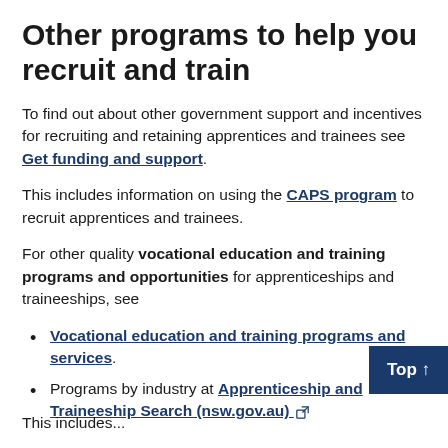Other programs to help you recruit and train
To find out about other government support and incentives for recruiting and retaining apprentices and trainees see Get funding and support.
This includes information on using the CAPS program to recruit apprentices and trainees.
For other quality vocational education and training programs and opportunities for apprenticeships and traineeships, see
Vocational education and training programs and services.
Programs by industry at Apprenticeship and Traineeship Search (nsw.gov.au)
This includes...